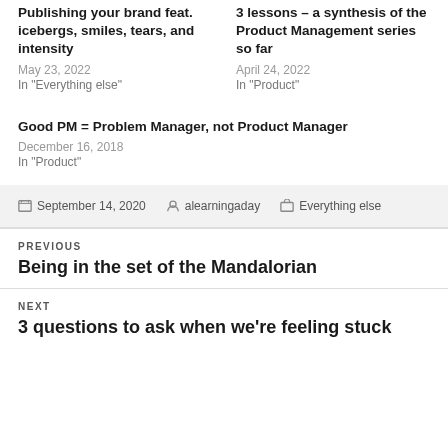Publishing your brand feat. icebergs, smiles, tears, and intensity
May 23, 2022
In "Everything else"
3 lessons – a synthesis of the Product Management series so far
April 24, 2022
In "Product"
Good PM = Problem Manager, not Product Manager
December 16, 2018
In "Product"
Posted September 14, 2020  Author alearningaday  Categories Everything else
PREVIOUS
Being in the set of the Mandalorian
NEXT
3 questions to ask when we're feeling stuck